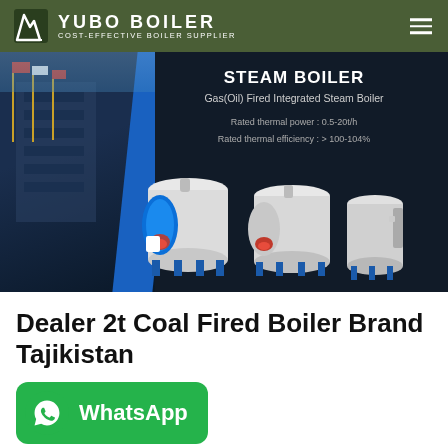YUBO BOILER - COST-EFFECTIVE BOILER SUPPLIER
[Figure (photo): Steam boiler product banner showing Gas(Oil) Fired Integrated Steam Boiler with rated thermal power 0.5-20t/h and rated thermal efficiency >100-104%, with industrial building in background and three boiler units displayed]
Dealer 2t Coal Fired Boiler Brand Tajikistan
[Figure (logo): WhatsApp contact button with green background, phone icon and WhatsApp text label]